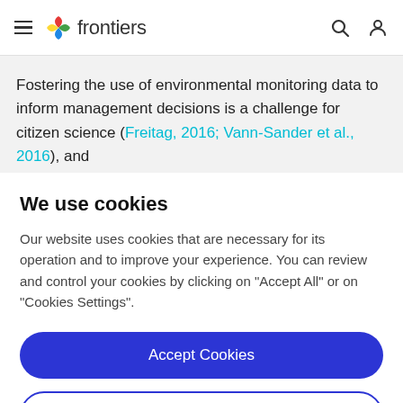frontiers
Fostering the use of environmental monitoring data to inform management decisions is a challenge for citizen science (Freitag, 2016; Vann-Sander et al., 2016), and
We use cookies
Our website uses cookies that are necessary for its operation and to improve your experience. You can review and control your cookies by clicking on "Accept All" or on "Cookies Settings".
Accept Cookies
Cookies Settings